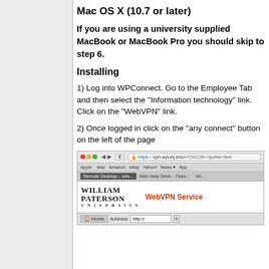Mac OS X (10.7 or later)
If you are using a university supplied MacBook or MacBook Pro you should skip to step 6.
Installing
1) Log into WPConnect. Go to the Employee Tab and then select the "Information technology" link. Click on the "WebVPN" link.
2) Once logged in click on the "any connect" button on the left of the page
[Figure (screenshot): Browser screenshot showing the William Paterson University WebVPN Service page at https://vpn.wpunj.edu/+CSCOE+/portal.html with browser chrome, bookmarks bar showing Apple, Mac, Amazon, eBay, Yahoo!, News, App links, and Remote Desktop and Web Help Desk tabs. The page shows the William Paterson University logo and 'WebVPN Service' text in red, and an address bar with Home link at the bottom.]